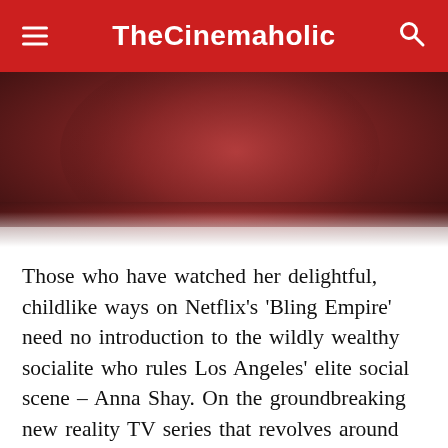TheCinemaholic
[Figure (photo): Photo of a person in dark red/maroon clothing, partially visible, appears to be at an event or indoor setting]
Those who have watched her delightful, childlike ways on Netflix's 'Bling Empire' need no introduction to the wildly wealthy socialite who rules Los Angeles' elite social scene – Anna Shay. On the groundbreaking new reality TV series that revolves around supremely rich Asians living in LA, Anna is shown to live a life of quiet decadence on a sprawling Beverly Hills estate. Anna is rich, astute, generous, fun, and spontaneous. She